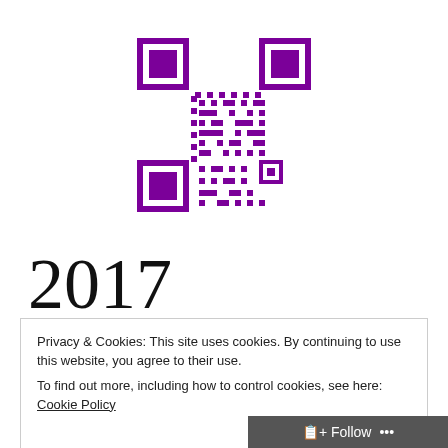[Figure (other): Purple QR code on white background, centered in upper portion of page]
2017
Privacy & Cookies: This site uses cookies. By continuing to use this website, you agree to their use.
To find out more, including how to control cookies, see here: Cookie Policy
Close and accept
Follow ...